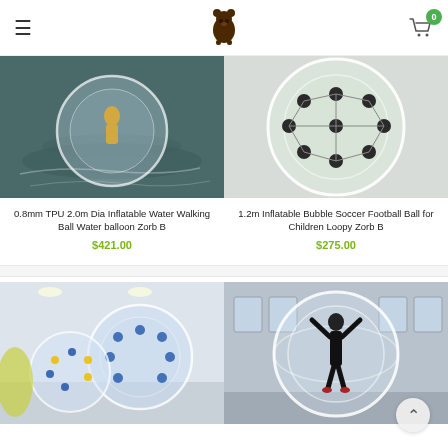Navigation header with hamburger menu, bear logo, and cart icon (0 items)
[Figure (photo): Person inside an inflatable transparent water walking ball floating on water]
0.8mm TPU 2.0m Dia Inflatable Water Walking Ball Water balloon Zorb B
$421.00
[Figure (photo): Close-up of transparent inflatable bubble ball with black dots pattern]
1.2m Inflatable Bubble Soccer Football Ball for Children Loopy Zorb B
$275.00
[Figure (photo): Multiple inflatable bubble soccer balls in a sports hall, clear with blue and yellow dots]
[Figure (photo): Person standing inside a large transparent inflatable zorb ball in a warehouse, arms raised]